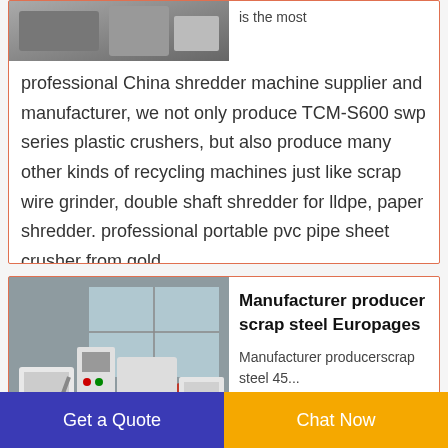[Figure (photo): Partial view of a machine/product photo at the top of the first card]
is the most professional China shredder machine supplier and manufacturer, we not only produce TCM-S600 swp series plastic crushers, but also produce many other kinds of recycling machines just like scrap wire grinder, double shaft shredder for lldpe, paper shredder. professional portable pvc pipe sheet crusher from gold
[Figure (photo): Photo of industrial scrap processing machine in factory setting — white machinery with red drum, control panel, in a warehouse]
Manufacturer producer scrap steel Europages
Manufacturer producerscrap steel 45...
Get a Quote
Chat Now